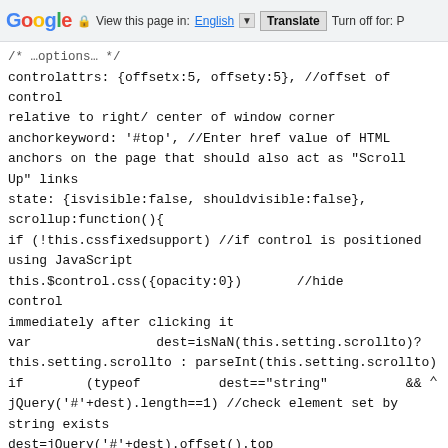Google | View this page in: English [▼] | Translate | Turn off for: P
controlattrs: {offsetx:5, offsety:5}, //offset of control relative to right/ center of window corner
anchorkeyword: '#top', //Enter href value of HTML anchors on the page that should also act as "Scroll Up" links
state: {isvisible:false, shouldvisible:false},
scrollup:function(){
if (!this.cssfixedsupport) //if control is positioned using JavaScript
this.$control.css({opacity:0}) //hide control immediately after clicking it
var                 dest=isNaN(this.setting.scrollto)? this.setting.scrollto : parseInt(this.setting.scrollto)
if       (typeof          dest=="string"         && jQuery('#'+dest).length==1) //check element set by string exists
dest=jQuery('#'+dest).offset().top
else